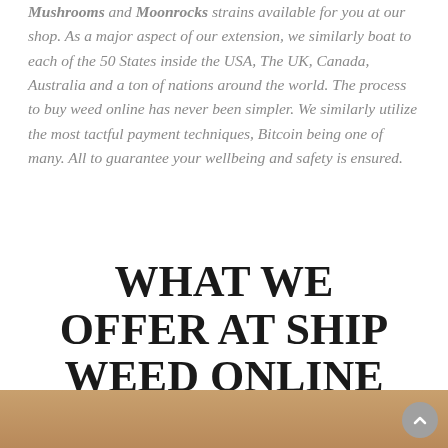Mushrooms and Moonrocks strains available for you at our shop. As a major aspect of our extension, we similarly boat to each of the 50 States inside the USA, The UK, Canada, Australia and a ton of nations around the world. The process to buy weed online has never been simpler. We similarly utilize the most tactful payment techniques, Bitcoin being one of many. All to guarantee your wellbeing and safety is ensured.
WHAT WE OFFER AT SHIP WEED ONLINE DISPENSARY
[Figure (photo): Bottom portion of a photo, showing a brownish/tan background, partially cropped at the bottom of the page.]